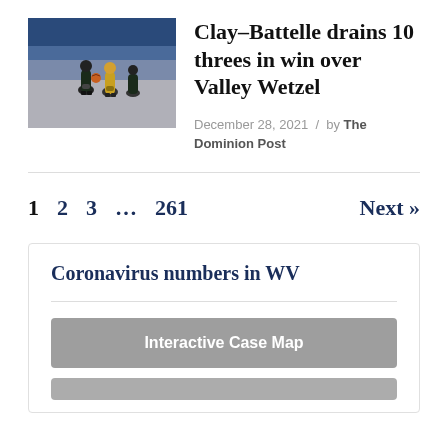[Figure (photo): Basketball players on a court, photo thumbnail]
Clay-Battelle drains 10 threes in win over Valley Wetzel
December 28, 2021 / by The Dominion Post
1  2  3  …  261    Next »
Coronavirus numbers in WV
Interactive Case Map